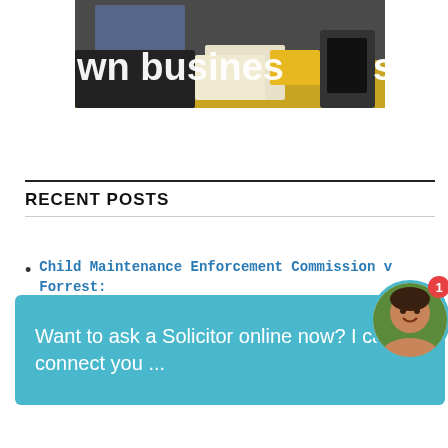[Figure (photo): Partial photo of people at a desk in a business setting with text overlay reading 'own business:' in bold white letters on a dark background]
RECENT POSTS
Child Maintenance Enforcement Commission v Forrest:
Want to ask a Solicitor online now? I can connect you ...
Others: SCS 14 May 2010